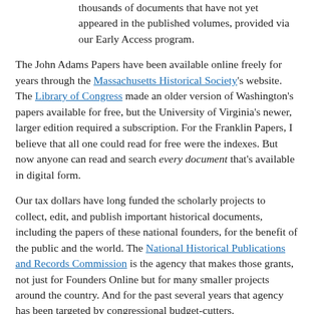thousands of documents that have not yet appeared in the published volumes, provided via our Early Access program.
The John Adams Papers have been available online freely for years through the Massachusetts Historical Society's website. The Library of Congress made an older version of Washington's papers available for free, but the University of Virginia's newer, larger edition required a subscription. For the Franklin Papers, I believe that all one could read for free were the indexes. But now anyone can read and search every document that's available in digital form.
Our tax dollars have long funded the scholarly projects to collect, edit, and publish important historical documents, including the papers of these national founders, for the benefit of the public and the world. The National Historical Publications and Records Commission is the agency that makes those grants, not just for Founders Online but for many smaller projects around the country. And for the past several years that agency has been targeted by congressional budget-cutters.